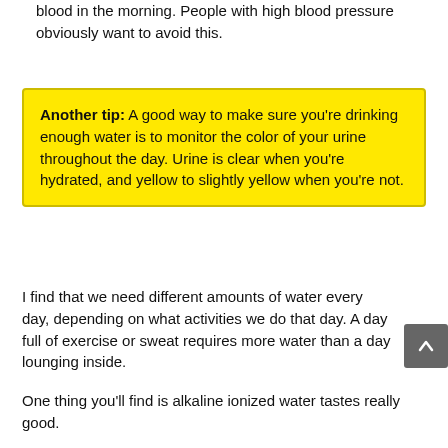blood in the morning. People with high blood pressure obviously want to avoid this.
Another tip: A good way to make sure you're drinking enough water is to monitor the color of your urine throughout the day. Urine is clear when you're hydrated, and yellow to slightly yellow when you're not.
I find that we need different amounts of water every day, depending on what activities we do that day. A day full of exercise or sweat requires more water than a day lounging inside.
One thing you'll find is alkaline ionized water tastes really good.